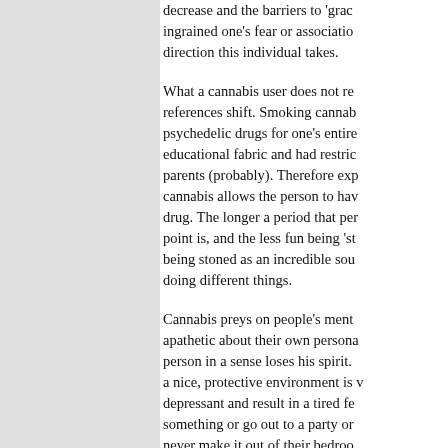decrease and the barriers to 'grad ingrained one's fear or association direction this individual takes. What a cannabis user does not re references shift. Smoking cannab psychedelic drugs for one's entire educational fabric and had restric parents (probably). Therefore exp cannabis allows the person to hav drug. The longer a period that per point is, and the less fun being 'st being stoned as an incredible sou doing different things. Cannabis preys on people's ment apathetic about their own persona person in a sense loses his spirit. a nice, protective environment is depressant and result in a tired fe something or go out to a party or never make it out of their bedroon suprised as the previous time.